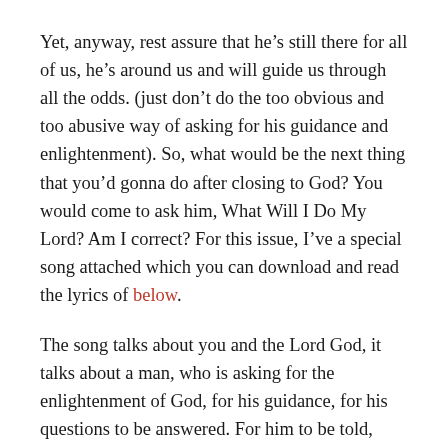Yet, anyway, rest assure that he's still there for all of us, he's around us and will guide us through all the odds. (just don't do the too obvious and too abusive way of asking for his guidance and enlightenment). So, what would be the next thing that you'd gonna do after closing to God? You would come to ask him, What Will I Do My Lord? Am I correct? For this issue, I've a special song attached which you can download and read the lyrics of below.
The song talks about you and the Lord God, it talks about a man, who is asking for the enlightenment of God, for his guidance, for his questions to be answered. For him to be told, what he should do and how to follow God's very plan for him. The song is performed by the Prince Of Pop Erik Santos, although it's quite old already, I still use to play this song in times when I am sad and when I feel bad; and have no one else to turn to, even my best friend.